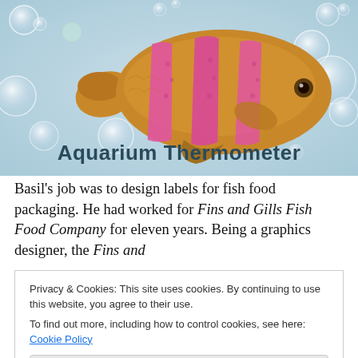[Figure (illustration): An illustrated tropical fish with pink/magenta striped markings swimming in a light blue water background with bubbles. The text 'Aquarium Thermometer' appears in bold dark teal at the bottom of the image.]
Basil's job was to design labels for fish food packaging. He had worked for Fins and Gills Fish Food Company for eleven years. Being a graphics designer, the Fins and
Privacy & Cookies: This site uses cookies. By continuing to use this website, you agree to their use.
To find out more, including how to control cookies, see here: Cookie Policy
As you can probably imagine, eleven years working for a